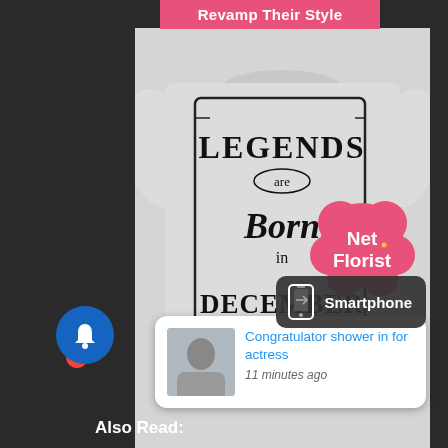Revamp Their Style
[Figure (photo): Two custom t-shirts displayed: top one is grey with 'Legends are Born in December' whiskey-label style print; bottom one is white with gold 'love' script and couple photo. Net Florist logo badge visible.]
[Figure (infographic): Smartphone widget overlay with phone icon]
Congratulator shower in for actress
11 minutes ago
Also Read: